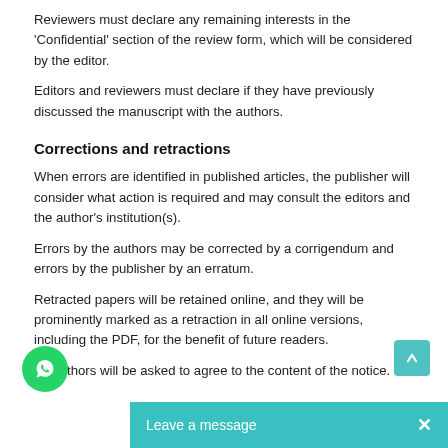Reviewers must declare any remaining interests in the 'Confidential' section of the review form, which will be considered by the editor.
Editors and reviewers must declare if they have previously discussed the manuscript with the authors.
Corrections and retractions
When errors are identified in published articles, the publisher will consider what action is required and may consult the editors and the author's institution(s).
Errors by the authors may be corrected by a corrigendum and errors by the publisher by an erratum.
Retracted papers will be retained online, and they will be prominently marked as a retraction in all online versions, including the PDF, for the benefit of future readers.
All authors will be asked to agree to the content of the notice.